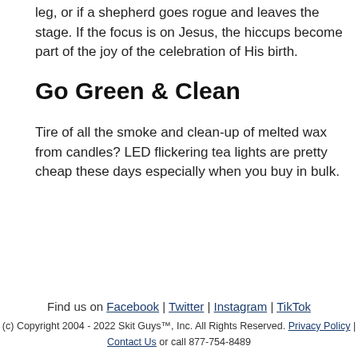leg, or if a shepherd goes rogue and leaves the stage. If the focus is on Jesus, the hiccups become part of the joy of the celebration of His birth.
Go Green & Clean
Tire of all the smoke and clean-up of melted wax from candles? LED flickering tea lights are pretty cheap these days especially when you buy in bulk.
Find us on Facebook | Twitter | Instagram | TikTok
(c) Copyright 2004 - 2022 Skit Guys™, Inc. All Rights Reserved. Privacy Policy | Contact Us or call 877-754-8489